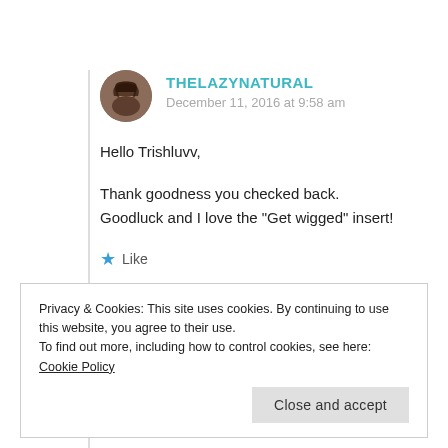THELAZYNATURAL
December 11, 2016 at 9:58 am
Hello Trishluvv,

Thank goodness you checked back. Goodluck and I love the "Get wigged" insert!
★ Like
Privacy & Cookies: This site uses cookies. By continuing to use this website, you agree to their use.
To find out more, including how to control cookies, see here: Cookie Policy
Close and accept